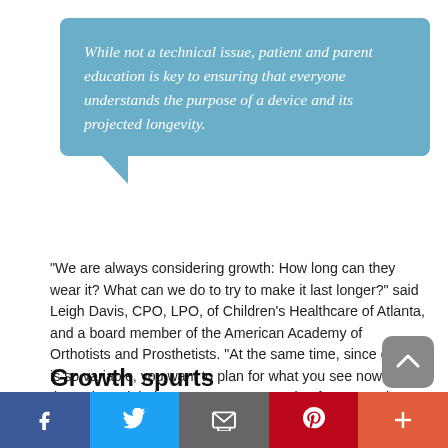While not a technical issue, patient and parent education is key to ensuring that everyone understands the purpose of a device and its projected longevity.
“We are always considering growth: How long can they wear it? What can we do to try to make it last longer?” said Leigh Davis, CPO, LPO, of Children’s Healthcare of Atlanta, and a board member of the American Academy of Orthotists and Prosthetists. “At the same time, since growth is so variable, you want to plan for what you see now rather than what might happen. You want to plan for care today versus planning for something that might happen in the future.”
Growth spurts